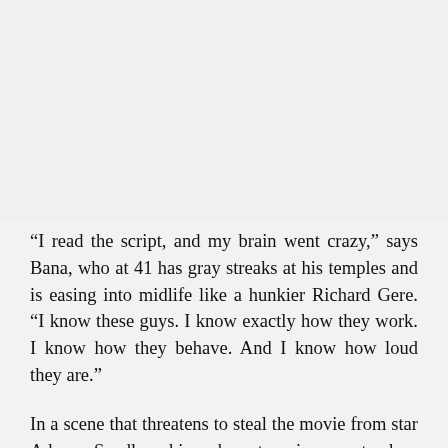[Figure (photo): A blank/empty light gray area occupying the top half of the page, likely a photo placeholder or image area.]
“I read the script, and my brain went crazy,” says Bana, who at 41 has gray streaks at his temples and is easing into midlife like a hunkier Richard Gere. “I know these guys. I know exactly how they work. I know how they behave. And I know how loud they are.”
In a scene that threatens to steal the movie from star Adam Sandler—his character is a stand-up comedian